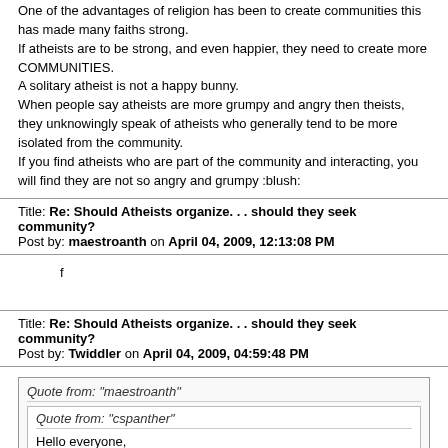One of the advantages of religion has been to create communities this has made many faiths strong.
If atheists are to be strong, and even happier, they need to create more COMMUNITIES.
A solitary atheist is not a happy bunny.
When people say atheists are more grumpy and angry then theists, they unknowingly speak of atheists who generally tend to be more isolated from the community.
If you find atheists who are part of the community and interacting, you will find they are not so angry and grumpy :blush:
Title: Re: Should Atheists organize. . . should they seek community?
Post by: maestroanth on April 04, 2009, 12:13:08 PM
f
Title: Re: Should Atheists organize. . . should they seek community?
Post by: Twiddler on April 04, 2009, 04:59:48 PM
Quote from: "maestroanth"
Quote from: "cspanther"
Hello everyone,

I'm new to this forum, so I guess, in the name of social etiquette, a brief introduction is called for before I jump into the topic at hand.